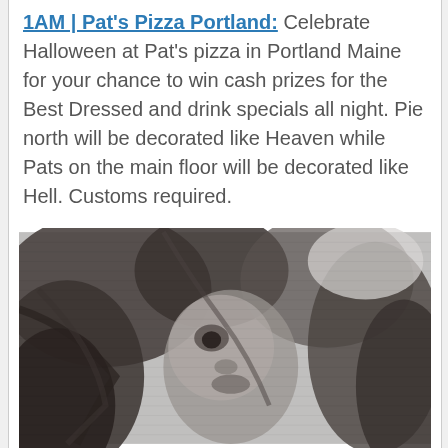1AM | Pat's Pizza Portland: Celebrate Halloween at Pat's pizza in Portland Maine for your chance to win cash prizes for the Best Dressed and drink specials all night. Pie north will be decorated like Heaven while Pats on the main floor will be decorated like Hell. Customs required.
[Figure (photo): Black and white / grayscale photo of a person with long hair in a Halloween costume, face partially visible, looking slightly downward.]